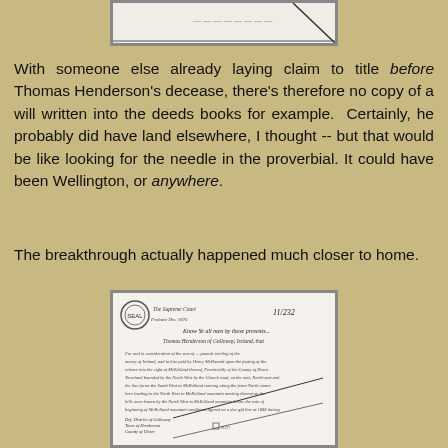[Figure (photo): A cropped image of an old handwritten or printed document, showing partial text and a diagonal line, with a grey border frame. Only the bottom portion is visible at the top of the page.]
With someone else already laying claim to title before Thomas Henderson's decease, there's therefore no copy of a will written into the deeds books for example.  Certainly, he probably did have land elsewhere, I thought -- but that would be like looking for the needle in the proverbial. It could have been Wellington, or anywhere.
The breakthrough actually happened much closer to home.
[Figure (photo): A scanned image of an old historical document, possibly a land deed or legal document. It includes a circular seal or stamp in the upper left, cursive handwriting throughout, a number '11/232' visible, the name 'Thomas Henderson' readable, and a diagonal line drawing in the lower portion representing a land survey or map sketch. The document is framed with a grey border.]